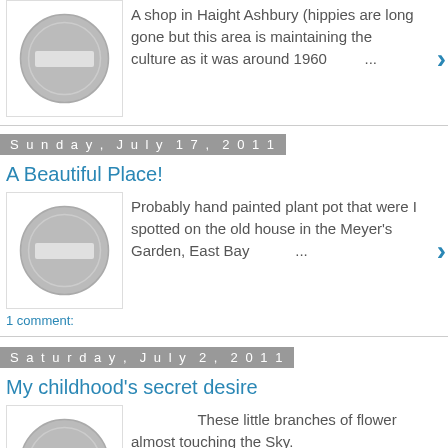A shop in Haight Ashbury (hippies are long gone but this area is maintaining the culture as it was around 1960 ...
Sunday, July 17, 2011
A Beautiful Place!
Probably hand painted plant pot that were I spotted on the old house in the Meyer's Garden, East Bay ...
1 comment:
Saturday, July 2, 2011
My childhood's secret desire
These little branches of flower almost touching the Sky. ...
2 comments: